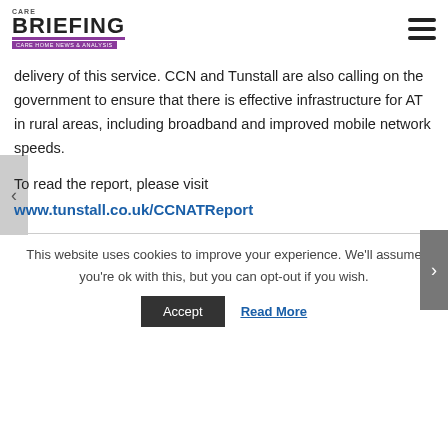CARE BRIEFING — CARE HOME NEWS & ANALYSIS
delivery of this service. CCN and Tunstall are also calling on the government to ensure that there is effective infrastructure for AT in rural areas, including broadband and improved mobile network speeds.
To read the report, please visit
www.tunstall.co.uk/CCNATReport
This website uses cookies to improve your experience. We'll assume you're ok with this, but you can opt-out if you wish.
Accept | Read More